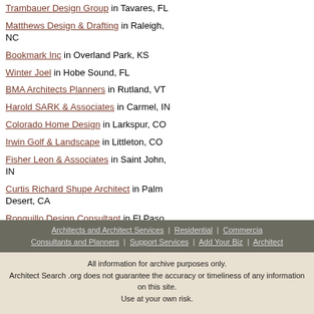Trambauer Design Group in Tavares, FL
Matthews Design & Drafting in Raleigh, NC
Bookmark Inc in Overland Park, KS
Winter Joel in Hobe Sound, FL
BMA Architects Planners in Rutland, VT
Harold SARK & Associates in Carmel, IN
Colorado Home Design in Larkspur, CO
Irwin Golf & Landscape in Littleton, CO
Fisher Leon & Associates in Saint John, IN
Curtis Richard Shupe Architect in Palm Desert, CA
Ronquillo Design Consultant in El Paso, TX
David M. Garinger Architectual Drafting & Design in Spokane, WA
Architects and Architect Services | Residential | Commercial | Consultants and Planners | Support Services | Add Your Biz | Architect
All information for archive purposes only. Architect Search .org does not guarantee the accuracy or timeliness of any information on this site. Use at your own risk.